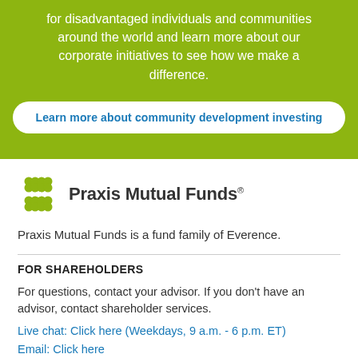for disadvantaged individuals and communities around the world and learn more about our corporate initiatives to see how we make a difference.
Learn more about community development investing
[Figure (logo): Praxis Mutual Funds logo with green flower/cross icon and bold text]
Praxis Mutual Funds is a fund family of Everence.
FOR SHAREHOLDERS
For questions, contact your advisor. If you don't have an advisor, contact shareholder services.
Live chat: Click here (Weekdays, 9 a.m. - 6 p.m. ET)
Email: Click here
Within the U.S.